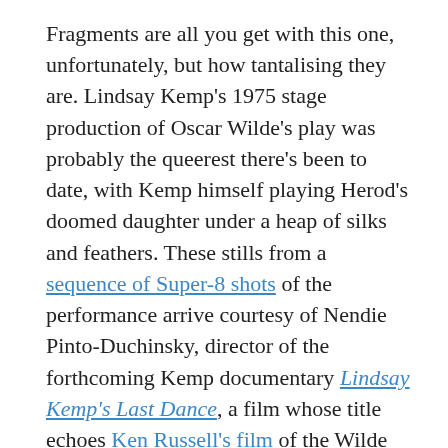Fragments are all you get with this one, unfortunately, but how tantalising they are. Lindsay Kemp's 1975 stage production of Oscar Wilde's play was probably the queerest there's been to date, with Kemp himself playing Herod's doomed daughter under a heap of silks and feathers. These stills from a sequence of Super-8 shots of the performance arrive courtesy of Nendie Pinto-Duchinsky, director of the forthcoming Kemp documentary Lindsay Kemp's Last Dance, a film whose title echoes Ken Russell's film of the Wilde play. The connections circulate wildly (so to speak) around Kemp's production: prior to this performance Kemp had acted for Ken Russell,